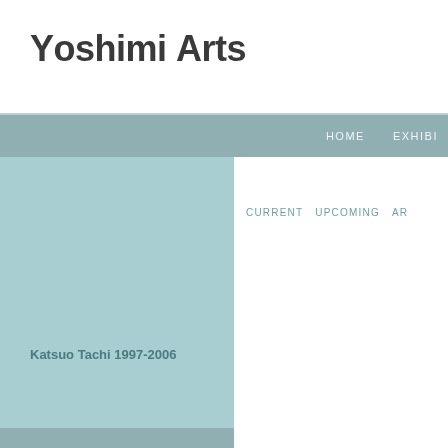Yoshimi Arts
HOME   EXHIBI
CURRENT   UPCOMING   AR
Katsuo Tachi 1997-2006